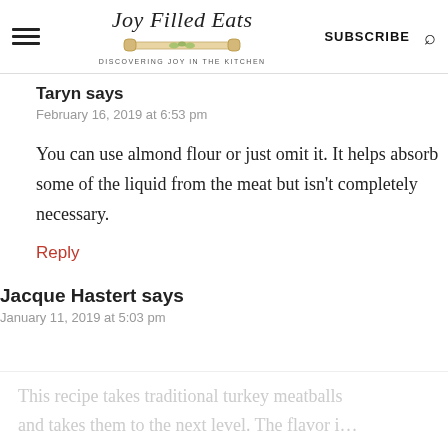Joy Filled Eats — DISCOVERING JOY IN THE KITCHEN — SUBSCRIBE
Taryn says
February 16, 2019 at 6:53 pm
You can use almond flour or just omit it. It helps absorb some of the liquid from the meat but isn't completely necessary.
Reply
Jacque Hastert says
January 11, 2019 at 5:03 pm
This recipe takes traditional turkey meatballs and takes them to the next level. The flavor i…